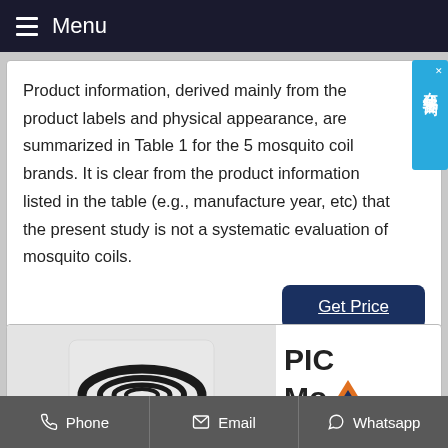Menu
Product information, derived mainly from the product labels and physical appearance, are summarized in Table 1 for the 5 mosquito coil brands. It is clear from the product information listed in the table (e.g., manufacture year, etc) that the present study is not a systematic evaluation of mosquito coils.
[Figure (screenshot): Get Price button - dark navy blue rounded rectangle button with white underlined text 'Get Price']
[Figure (photo): Photo of a black mosquito coil (spiral shape) on a light background, with 'PIC Mo' text and orange mountain logo visible to the right]
Phone  Email  Whatsapp